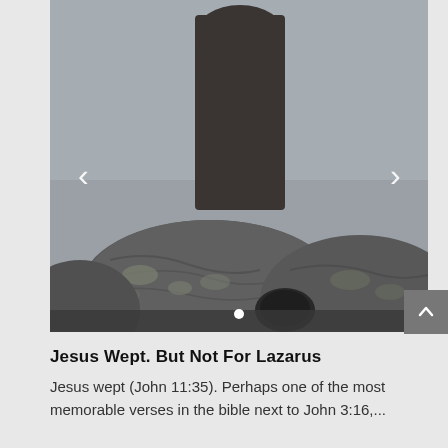[Figure (photo): Black and white photograph of a stone grave marker or tombstone with a rounded top, positioned behind large mossy granite rocks in a foggy or overcast setting. A carousel navigation dot is visible at the bottom center of the image.]
Jesus Wept. But Not For Lazarus
Jesus wept (John 11:35). Perhaps one of the most memorable verses in the bible next to John 3:16,...